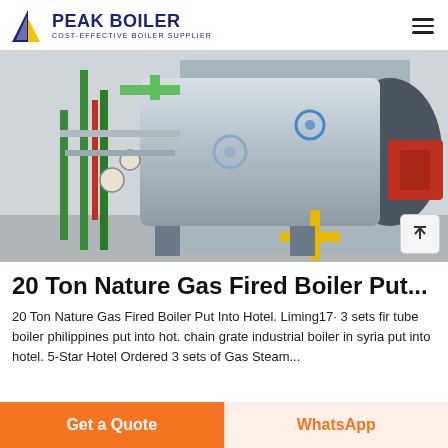PEAK BOILER COST-EFFECTIVE BOILER SUPPLIER
[Figure (photo): Industrial gas-fired boiler installed indoors, showing a large cylindrical stainless steel boiler with pipes, gauges, valves, and yellow gas piping in a white-walled boiler room.]
20 Ton Nature Gas Fired Boiler Put...
20 Ton Nature Gas Fired Boiler Put Into Hotel. Liming17· 3 sets fir tube boiler philippines put into hot. chain grate industrial boiler in syria put into hotel. 5-Star Hotel Ordered 3 sets of Gas Steam...